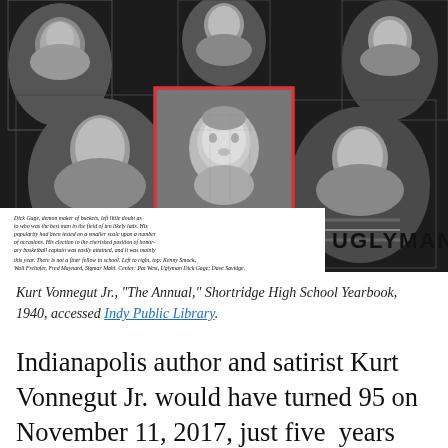[Figure (photo): Black and white yearbook photo collage showing multiple young men's portraits arranged in a group. The center portrait is highlighted with a red rectangle border. A yearbook caption at the bottom left reads about Dick Gage and lists names. 'UGLYMAN' label appears in bold at bottom right.]
Kurt Vonnegut Jr., “The Annual,” Shortridge High School Yearbook, 1940, accessed Indy Public Library.
Indianapolis author and satirist Kurt Vonnegut Jr. would have turned 95 on November 11, 2017, just five years shy of his centennial. Few